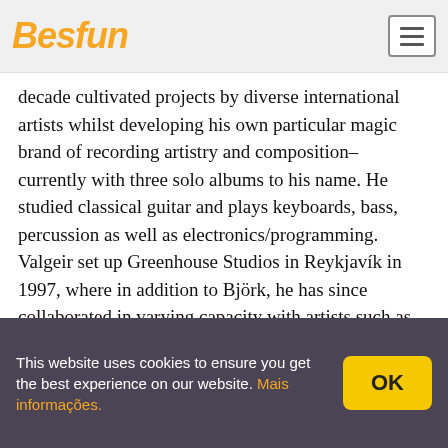Besfun
decade cultivated projects by diverse international artists whilst developing his own particular magic brand of recording artistry and composition– currently with three solo albums to his name. He studied classical guitar and plays keyboards, bass, percussion as well as electronics/programming. Valgeir set up Greenhouse Studios in Reykjavík in 1997, where in addition to Björk, he has since collaborated in varying capacity with artists such as Bonnie 'Prince' Billy, Feist, Damon Albarn, Camille, CocoRosie, Ben Frost, Sam Amidon, Nico Muhly, múm, Hilary Hahn & Hauschka, Brian Eno, Sigur Rós and many others.
Valgeir founded record label and collective Bedroom
This website uses cookies to ensure you get the best experience on our website. Mais informações.